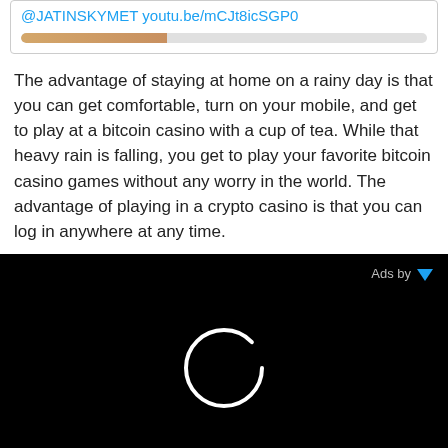[Figure (screenshot): Partial Twitter/social media embed showing a link '@JATINSKYMET youtu.be/mCJt8icSGP0' and a progress bar below it]
The advantage of staying at home on a rainy day is that you can get comfortable, turn on your mobile, and get to play at a bitcoin casino with a cup of tea. While that heavy rain is falling, you get to play your favorite bitcoin casino games without any worry in the world. The advantage of playing in a crypto casino is that you can log in anywhere at any time.
[Figure (screenshot): Black advertisement loading area with 'Ads by' label and triangle icon in top right, and a white circular loading spinner in the center]